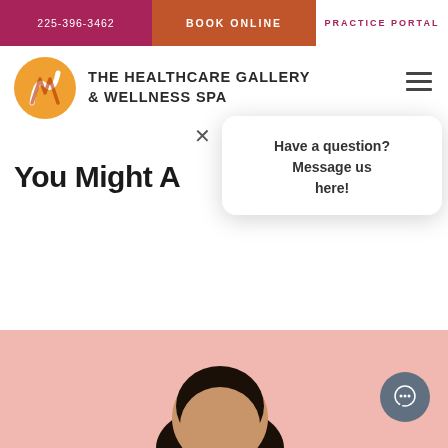225-396-3462 | BOOK ONLINE | PRACTICE PORTAL
[Figure (logo): The Healthcare Gallery & Wellness Spa orange circular logo with stylized W mark]
THE HEALTHCARE GALLERY & WELLNESS SPA
You Might A...
Have a question? Message us here!
[Figure (photo): Person's head visible at bottom of page on pink background]